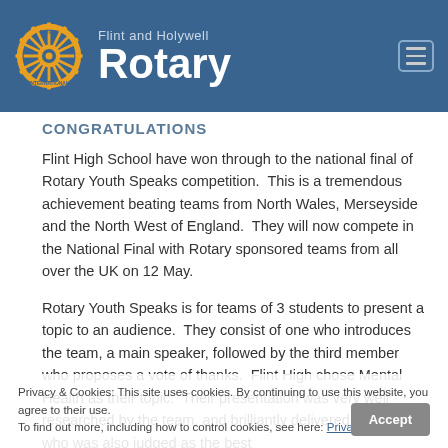Flint and Holywell Rotary
CONGRATULATIONS
Flint High School have won through to the national final of Rotary Youth Speaks competition.  This is a tremendous achievement beating teams from North Wales, Merseyside and the North West of England.  They will now compete in the National Final with Rotary sponsored teams from all over the UK on 12 May.
Rotary Youth Speaks is for teams of 3 students to present a topic to an audience.  They consist of one who introduces the team, a main speaker, followed by the third member who proposes a vote of thanks.  Flint High chose Mental Health as their topic.  Their presentation was very well researched by the team, and brilliantly delivered by Kate, who was also judged as the best
Privacy & Cookies: This site uses cookies. By continuing to use this website, you agree to their use.
To find out more, including how to control cookies, see here: Privacy Policy